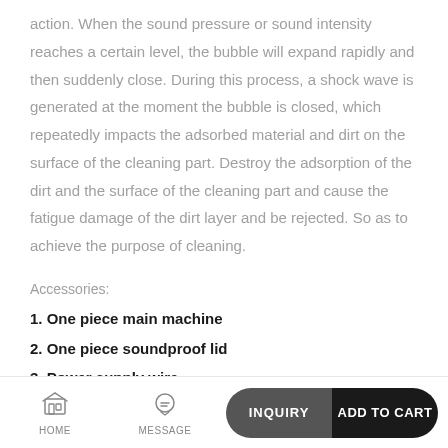action. When the sound pressure or sound intensity reaches a certain level, the bubble will expand rapidly and then suddenly close. During this process, a shock wave is generated at the moment the bubble is closed, which repeatedly impacts the adsorbed material and dirt on the surface of the cleaning part. Destroy the adsorption of the dirt and the surface of the cleaning part and cause the fatigue damage of the dirt layer and be rejected. So as to achieve the purpose of cleaning.
Accessories:
1. One piece main machine
2. One piece soundproof lid
3. Power supply wire
HOME | MESSAGE | INQUIRY | ADD TO CART